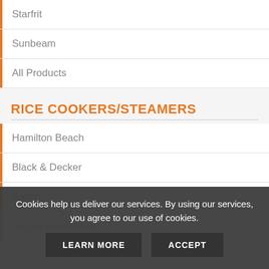Starfrit
Sunbeam
All Products
RICE COOKERS/STEAMERS
Hamilton Beach
Black & Decker
Salton
Aroma Housewares
Cookies help us deliver our services. By using our services, you agree to our use of cookies.